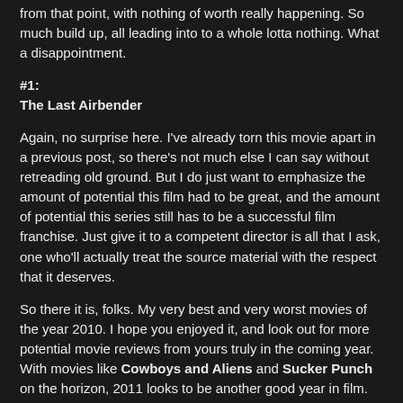from that point, with nothing of worth really happening. So much build up, all leading into to a whole lotta nothing. What a disappointment.
#1:
The Last Airbender
Again, no surprise here. I've already torn this movie apart in a previous post, so there's not much else I can say without retreading old ground. But I do just want to emphasize the amount of potential this film had to be great, and the amount of potential this series still has to be a successful film franchise. Just give it to a competent director is all that I ask, one who'll actually treat the source material with the respect that it deserves.
So there it is, folks. My very best and very worst movies of the year 2010. I hope you enjoyed it, and look out for more potential movie reviews from yours truly in the coming year. With movies like Cowboys and Aliens and Sucker Punch on the horizon, 2011 looks to be another good year in film.